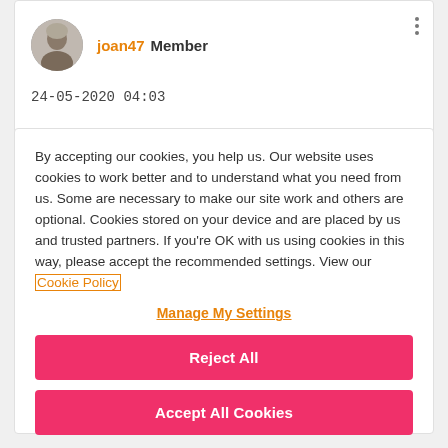[Figure (photo): User profile card showing avatar photo of an older woman, username 'joan47' in orange, label 'Member' in black, and three vertical dots menu icon in top right]
24-05-2020 04:03
By accepting our cookies, you help us. Our website uses cookies to work better and to understand what you need from us. Some are necessary to make our site work and others are optional. Cookies stored on your device and are placed by us and trusted partners. If you're OK with us using cookies in this way, please accept the recommended settings. View our Cookie Policy
Manage My Settings
Reject All
Accept All Cookies